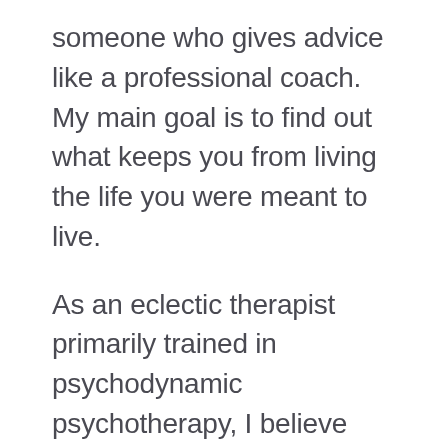someone who gives advice like a professional coach. My main goal is to find out what keeps you from living the life you were meant to live.
As an eclectic therapist primarily trained in psychodynamic psychotherapy, I believe that the unconscious patterns generated in childhood greatly influence the present and future. I help patients heal from childhood wounds that may be impeding their ability to create